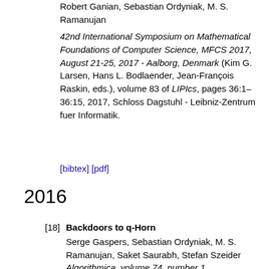Robert Ganian, Sebastian Ordyniak, M. S. Ramanujan
42nd International Symposium on Mathematical Foundations of Computer Science, MFCS 2017, August 21-25, 2017 - Aalborg, Denmark (Kim G. Larsen, Hans L. Bodlaender, Jean-François Raskin, eds.), volume 83 of LIPIcs, pages 36:1–36:15, 2017, Schloss Dagstuhl - Leibniz-Zentrum fuer Informatik.
[bibtex] [pdf]
2016
[18]
Backdoors to q-Horn
Serge Gaspers, Sebastian Ordyniak, M. S. Ramanujan, Saket Saurabh, Stefan Szeider
Algorithmica, volume 74, number 1